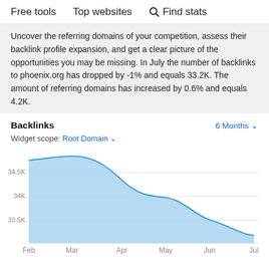Free tools   Top websites   🔍 Find stats
Uncover the referring domains of your competition, assess their backlink profile expansion, and get a clear picture of the opportunities you may be missing. In July the number of backlinks to phoenix.org has dropped by -1% and equals 33.2K. The amount of referring domains has increased by 0.6% and equals 4.2K.
Backlinks   6 Months ▾
Widget scope: Root Domain ▾
[Figure (area-chart): Backlinks over 6 Months]